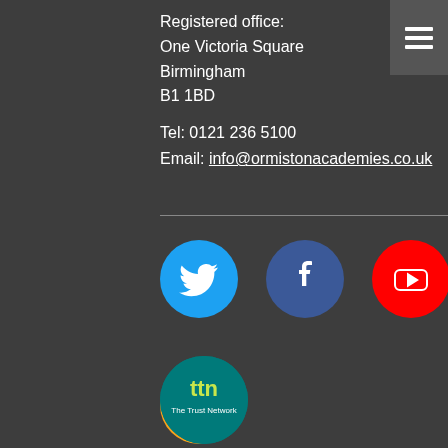Registered office:
One Victoria Square
Birmingham
B1 1BD
Tel: 0121 236 5100
Email: info@ormistonacademies.co.uk
[Figure (illustration): Social media icons row: Twitter (blue circle), Facebook (blue circle), YouTube (red circle), LinkedIn (blue square)]
[Figure (illustration): RSS feed icon (orange circle)]
[Figure (logo): TTN - The Trust Network logo (teal circle with yellow text 'ttn' and white text 'The Trust Network')]